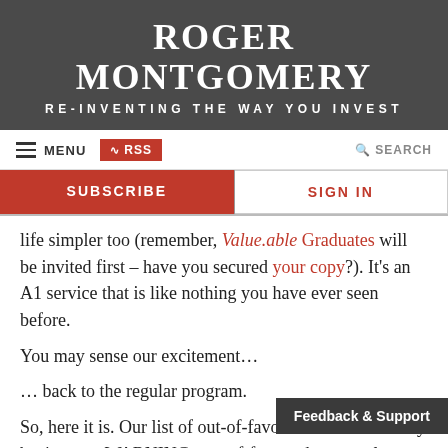ROGER MONTGOMERY
RE-INVENTING THE WAY YOU INVEST
MENU  RSS  SEARCH
SUBSCRIBE  SIGN IN
life simpler too (remember, Value.able Graduates will be invited first – have you secured your copy?). It's an A1 service that is like nothing you have ever seen before.

You may sense our excitement…

… back to the regular program.

So, here it is. Our list of out-of-favour-but-extraordinary businesses. WARNING: out-of-favour does not always mean 'bargain'.

Steve Jobs once said; "People thi
Feedback & Support